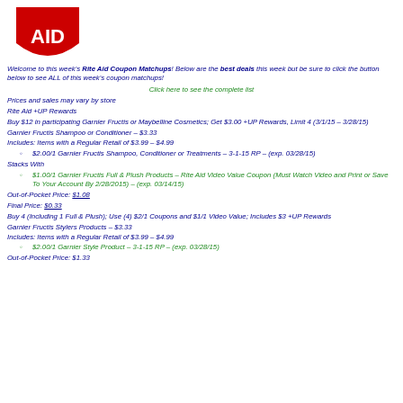[Figure (logo): Rite Aid logo - red shield shape with white AID text]
Welcome to this week's Rite Aid Coupon Matchups! Below are the best deals this week but be sure to click the button below to see ALL of this week's coupon matchups!
Click here to see the complete list
Prices and sales may vary by store
Rite Aid +UP Rewards
Buy $12 in participating Garnier Fructis or Maybelline Cosmetics; Get $3.00 +UP Rewards, Limit 4 (3/1/15 – 3/28/15)
Garnier Fructis Shampoo or Conditioner – $3.33
Includes: Items with a Regular Retail of $3.99 – $4.99
$2.00/1 Garnier Fructis Shampoo, Conditioner or Treatments – 3-1-15 RP – (exp. 03/28/15)
Stacks With
$1.00/1 Garnier Fructis Full & Plush Products – Rite Aid Video Value Coupon (Must Watch Video and Print or Save To Your Account By 2/28/2015) – (exp. 03/14/15)
Out-of-Pocket Price: $1.08
Final Price: $0.33
Buy 4 (Including 1 Full & Plush); Use (4) $2/1 Coupons and $1/1 Video Value; Includes $3 +UP Rewards
Garnier Fructis Stylers Products – $3.33
Includes: Items with a Regular Retail of $3.99 – $4.99
$2.00/1 Garnier Style Product – 3-1-15 RP – (exp. 03/28/15)
Out-of-Pocket Price: $1.33